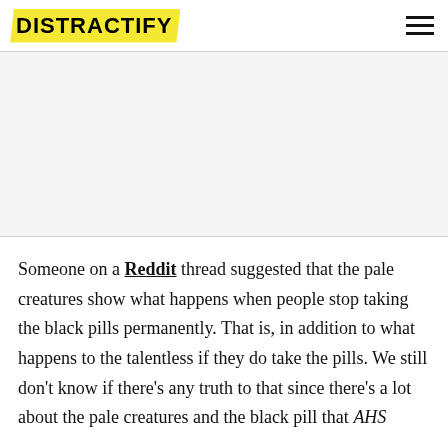DISTRACTIFY
Someone on a Reddit thread suggested that the pale creatures show what happens when people stop taking the black pills permanently. That is, in addition to what happens to the talentless if they do take the pills. We still don't know if there's any truth to that since there's a lot about the pale creatures and the black pill that AHS